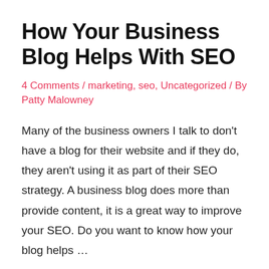How Your Business Blog Helps With SEO
4 Comments / marketing, seo, Uncategorized / By Patty Malowney
Many of the business owners I talk to don't have a blog for their website and if they do, they aren't using it as part of their SEO strategy. A business blog does more than provide content, it is a great way to improve your SEO. Do you want to know how your blog helps …